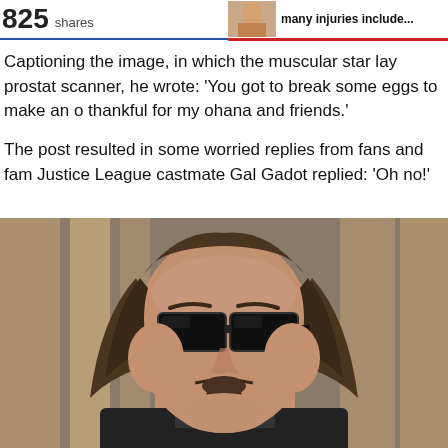825 shares   many injuries include...
Captioning the image, in which the muscular star lay prostate scanner, he wrote: 'You got to break some eggs to make an o thankful for my ohana and friends.'
The post resulted in some worried replies from fans and fam Justice League castmate Gal Gadot replied: 'Oh no!'
[Figure (photo): Close-up photo of a man with long dark hair, beard, and dark sunglasses, wearing a black jacket, standing outdoors with a blurred background.]